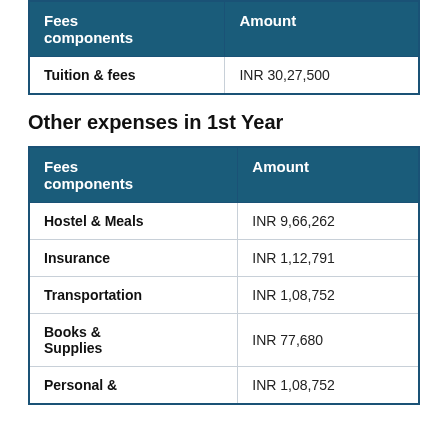| Fees components | Amount |
| --- | --- |
| Tuition & fees | INR 30,27,500 |
Other expenses in 1st Year
| Fees components | Amount |
| --- | --- |
| Hostel & Meals | INR 9,66,262 |
| Insurance | INR 1,12,791 |
| Transportation | INR 1,08,752 |
| Books & Supplies | INR 77,680 |
| Personal & | INR 1,08,752 |